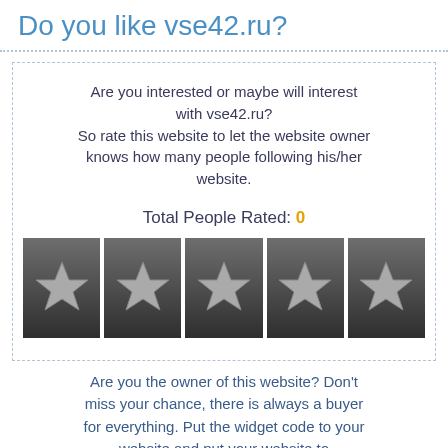Do you like vse42.ru?
Are you interested or maybe will interest with vse42.ru? So rate this website to let the website owner knows how many people following his/her website.
Total People Rated: 0
[Figure (other): Five star rating widget showing 5 gray stars on dark gradient backgrounds, currently unrated.]
Are you the owner of this website? Don't miss your chance, there is always a buyer for everything. Put the widget code to your website and put your website to siteprice.org On Sale page.